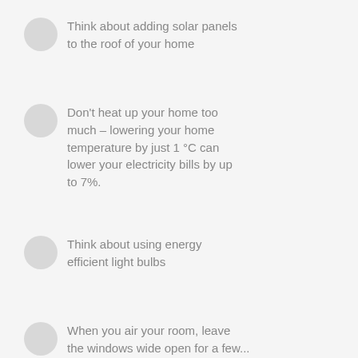Think about adding solar panels to the roof of your home
Don't heat up your home too much – lowering your home temperature by just 1 °C can lower your electricity bills by up to 7%.
Think about using energy efficient light bulbs
When you air your room, leave the windows wide open for a few...